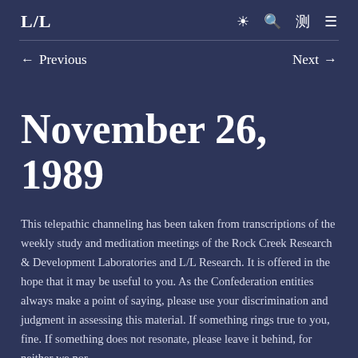L/L
November 26, 1989
This telepathic channeling has been taken from transcriptions of the weekly study and meditation meetings of the Rock Creek Research & Development Laboratories and L/L Research. It is offered in the hope that it may be useful to you. As the Confederation entities always make a point of saying, please use your discrimination and judgment in assessing this material. If something rings true to you, fine. If something does not resonate, please leave it behind, for neither we nor